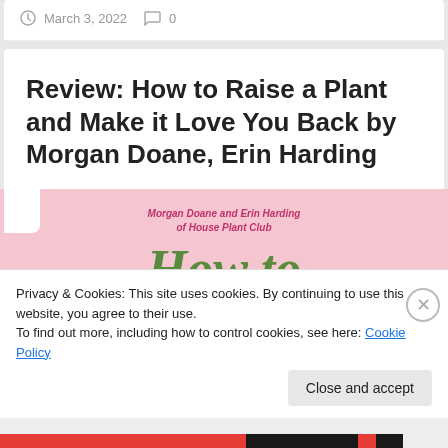March 3, 2022   0
Review: How to Raise a Plant and Make it Love You Back by Morgan Doane, Erin Harding
[Figure (illustration): Book cover showing pink background with text 'Morgan Doane and Erin Harding of House Plant Club' in pink italic font and 'How to' in large green bold italic text]
Privacy & Cookies: This site uses cookies. By continuing to use this website, you agree to their use.
To find out more, including how to control cookies, see here: Cookie Policy